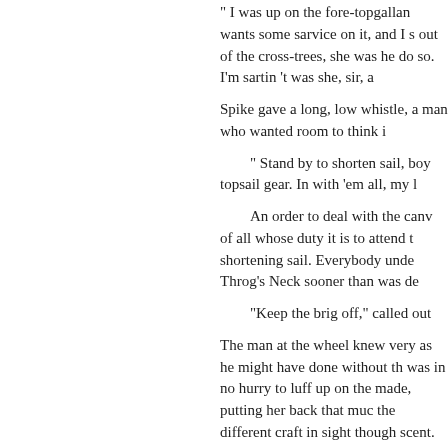“I was up on the fore-topgallan wants some sarvice on it, and I s out of the cross-trees, she was he do so. I’m sartin ’t was she, sir, a
Spike gave a long, low whistle, a man who wanted room to think i
“ Stand by to shorten sail, boy topsail gear. In with ’em all, my l
An order to deal with the canv of all whose duty it is to attend t shortening sail. Everybody unde Throg’s Neck sooner than was de
“Keep the brig off,” called out
The man at the wheel knew very as he might have done without th was in no hurry to luff up on the made, putting her back that muc the different craft in sight though scent.
A large coasting schonner, car stern of the Swash, and hailed.